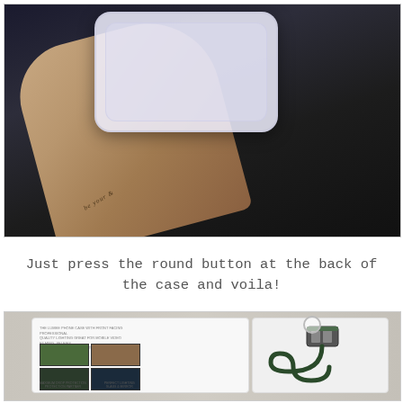[Figure (photo): A hand with a wrist tattoo holding a transparent/clear phone case, photographed against a dark background]
Just press the round button at the back of the case and voila!
[Figure (photo): Product packaging box for a phone case with LED lighting feature, showing the box open with contents including a USB charging cable. The back of the box shows photos of people using the phone case for selfies and the text 'MAXIMUM DROP PROTECTION' and 'PERFECT LIGHTING'.]